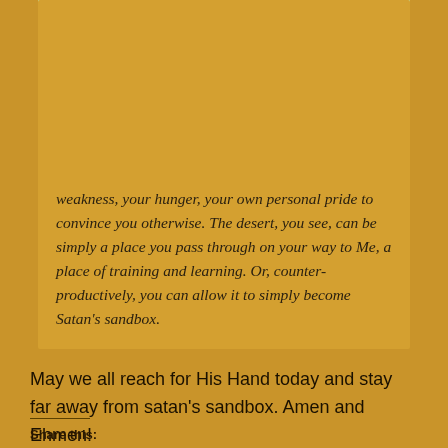[Figure (photo): A sandbox with colorful plastic toy shovels and a bucket — green shovels, yellow and red toys visible in sand with a wooden border]
weakness, your hunger, your own personal pride to convince you otherwise. The desert, you see, can be simply a place you pass through on your way to Me, a place of training and learning. Or, counter-productively, you can allow it to simply become Satan's sandbox.
May we all reach for His Hand today and stay far away from satan's sandbox. Amen and Ehmen!
Share this: